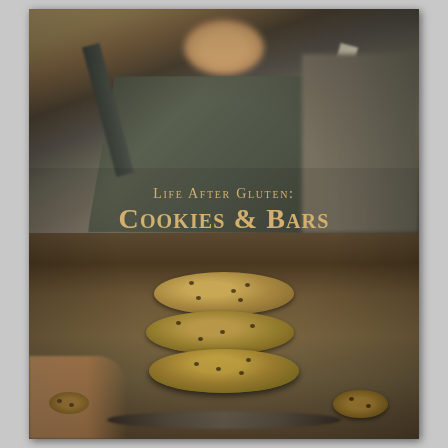[Figure (photo): Book cover for 'Life After Gluten: Cookies & Bars'. A person wearing a dark green/gray apron holds a plate of stacked chocolate chip cookies in the foreground. The background shows the person's torso and apron straps blurred. A stack of three rustic gluten-free cookies sits prominently in the lower center, with additional cookies on the plate beside the stack. The title text is overlaid in gold/amber and cream colors over the middle of the image.]
Life After Gluten: Cookies & Bars
Delicious everyday recipes to for the novice, the home cook & the professional baker